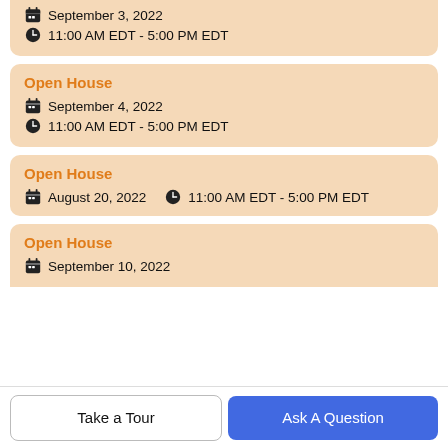September 3, 2022
11:00 AM EDT - 5:00 PM EDT
Open House
September 4, 2022
11:00 AM EDT - 5:00 PM EDT
Open House
August 20, 2022
11:00 AM EDT - 5:00 PM EDT
Open House
September 10, 2022
Take a Tour
Ask A Question